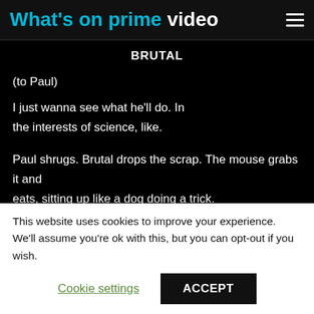What's on prime video
BRUTAL
(to Paul)
I just wanna see what he'll do. In the interests of science, like.
Paul shrugs. Brutal drops the scrap. The mouse grabs it and eats, sitting up like a dog doing a trick.
This website uses cookies to improve your experience. We'll assume you're ok with this, but you can opt-out if you wish.
Cookie settings
ACCEPT